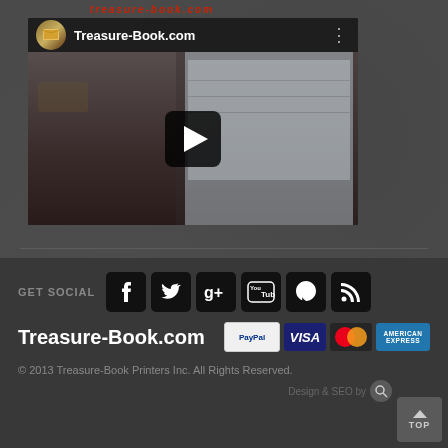[Figure (screenshot): YouTube video thumbnail for Treasure-Book.com showing a woman presenter and a spreadsheet screen in the background, with a play button overlay]
GET SOCIAL
[Figure (logo): Social media icons: Facebook, Twitter, Google+, YouTube, Pinterest, RSS feed — white icons on black square backgrounds]
Treasure-Book.com
[Figure (logo): Payment badges: PayPal, VISA, MasterCard, American Express]
© 2013 Treasure-Book Printers Inc. All Rights Reserved.
Design & SEO by